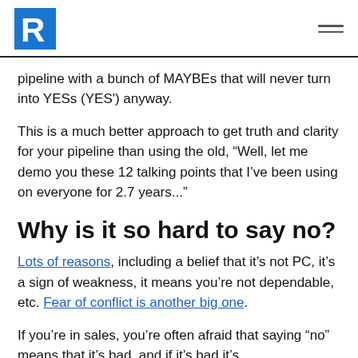R logo and navigation
pipeline with a bunch of MAYBEs that will never turn into YESs (YES') anyway.
This is a much better approach to get truth and clarity for your pipeline than using the old, “Well, let me demo you these 12 talking points that I’ve been using on everyone for 2.7 years...”
Why is it so hard to say no?
Lots of reasons, including a belief that it’s not PC, it’s a sign of weakness, it means you’re not dependable, etc. Fear of conflict is another big one.
If you’re in sales, you’re often afraid that saying “no”...